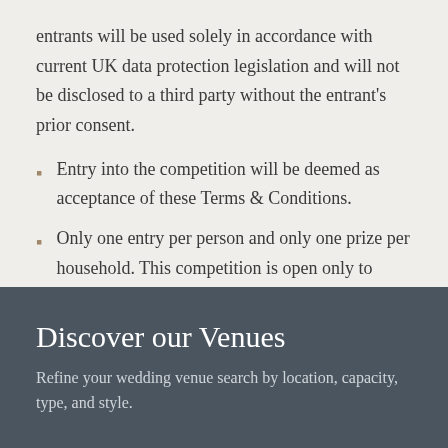entrants will be used solely in accordance with current UK data protection legislation and will not be disclosed to a third party without the entrant's prior consent.
Entry into the competition will be deemed as acceptance of these Terms & Conditions.
Only one entry per person and only one prize per household. This competition is open only to residents of the UK aged 18 years or over.
Thank you for entering The 2020 Survey and Good Luck!
Discover our Venues
Refine your wedding venue search by location, capacity, type, and style.